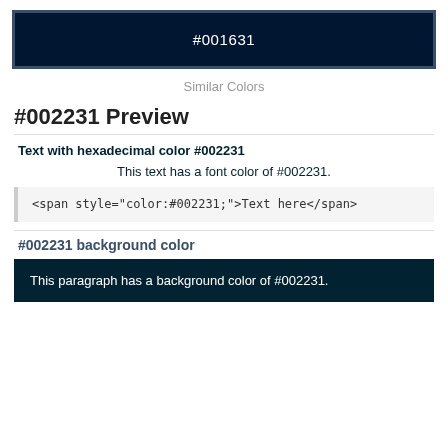[Figure (other): Color swatch bar showing dark navy color #001631 with hex label in white text]
Similar Colors
#002231 Preview
Text with hexadecimal color #002231
This text has a font color of #002231.
<span style="color:#002231;">Text here</span>
#002231 background color
This paragraph has a background color of #002231.